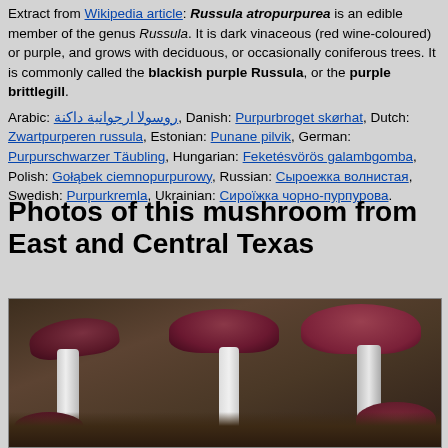Extract from Wikipedia article: Russula atropurpurea is an edible member of the genus Russula. It is dark vinaceous (red wine-coloured) or purple, and grows with deciduous, or occasionally coniferous trees. It is commonly called the blackish purple Russula, or the purple brittlegill.

Arabic: روسولا ارجوانية داكنة, Danish: Purpurbroget skørhat, Dutch: Zwartpurperen russula, Estonian: Punane pilvik, German: Purpurschwarzer Täubling, Hungarian: Feketésvörös galambgomba, Polish: Gołąbek ciemnopurpurowy, Russian: Сыроежка волнистая, Swedish: Purpurkremla, Ukrainian: Сироїжка чорно-пурпурова.
Photos of this mushroom from East and Central Texas
[Figure (photo): Photo of Russula atropurpurea mushrooms showing dark purple-red caps and white stalks growing in dark soil with leaf litter.]